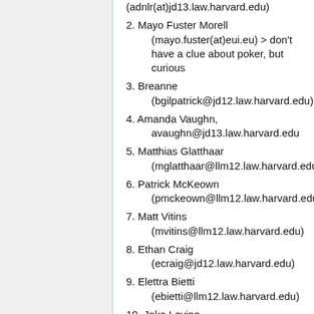(adnlr(at)jd13.law.harvard.edu)
2. Mayo Fuster Morell (mayo.fuster(at)eui.eu) > don't have a clue about poker, but curious
3. Breanne (bgilpatrick@jd12.law.harvard.edu)
4. Amanda Vaughn, avaughn@jd13.law.harvard.edu
5. Matthias Glatthaar (mglatthaar@llm12.law.harvard.edu)
6. Patrick McKeown (pmckeown@llm12.law.harvard.edu)
7. Matt Vitins (mvitins@llm12.law.harvard.edu)
8. Ethan Craig (ecraig@jd12.law.harvard.edu)
9. Elettra Bietti (ebietti@llm12.law.harvard.edu)
10. Jake Levine